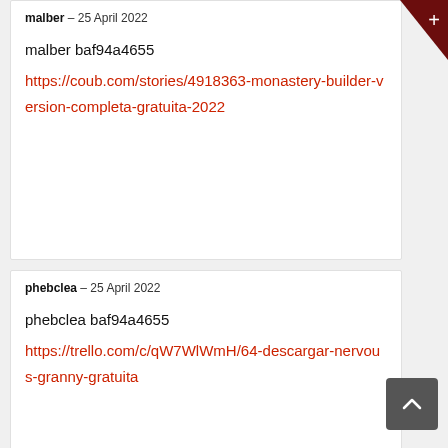malber – 25 April 2022
malber baf94a4655
https://coub.com/stories/4918363-monastery-builder-version-completa-gratuita-2022
phebclea – 25 April 2022
phebclea baf94a4655
https://trello.com/c/qW7WlWmH/64-descargar-nervous-granny-gratuita